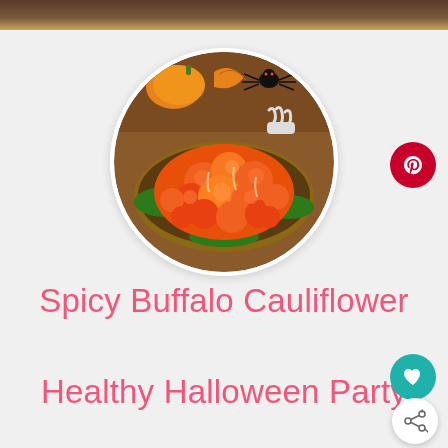[Figure (photo): Circular photo of spicy buffalo cauliflower dish with orange-coated cauliflower florets on a platter, decorated with Halloween decorations including spider and autumn leaves in the background]
Spicy Buffalo Cauliflower Healthy Halloween Party Appetizer Recipe